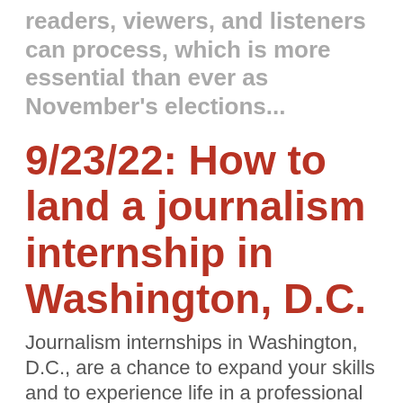readers, viewers, and listeners can process, which is more essential than ever as November's elections...
9/23/22: How to land a journalism internship in Washington, D.C.
Journalism internships in Washington, D.C., are a chance to expand your skills and to experience life in a professional newsroom. But not all internship experiences are the same. Considering a